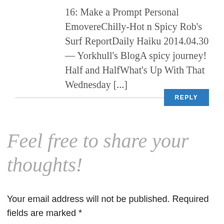16: Make a Prompt Personal EmovereChilly-Hot n Spicy Rob's Surf ReportDaily Haiku 2014.04.30 — Yorkhull's BlogA spicy journey! Half and HalfWhat's Up With That Wednesday [...]
REPLY
Feel free to share your thoughts!
Your email address will not be published. Required fields are marked *